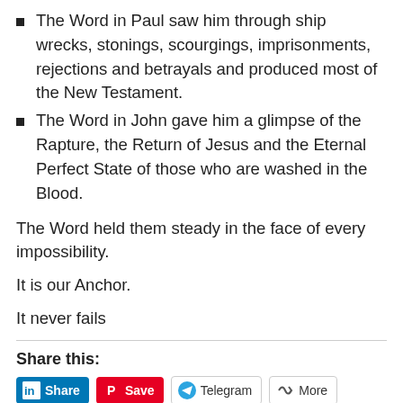The Word in Paul saw him through ship wrecks, stonings, scourgings, imprisonments, rejections and betrayals and produced most of the New Testament.
The Word in John gave him a glimpse of the Rapture, the Return of Jesus and the Eternal Perfect State of those who are washed in the Blood.
The Word held them steady in the face of every impossibility.
It is our Anchor.
It never fails
Share this:
[Figure (other): Social share buttons: LinkedIn Share, Pinterest Save, Telegram, More]